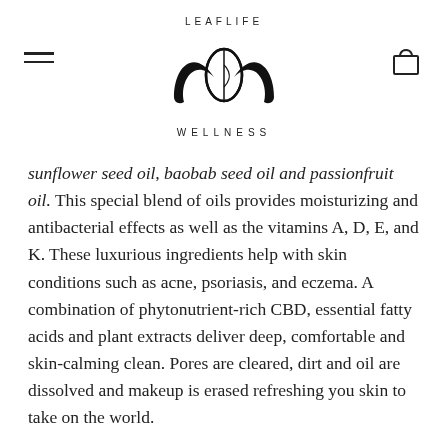LEAFLIFE WELLNESS (logo with icon)
sunflower seed oil, baobab seed oil and passionfruit oil. This special blend of oils provides moisturizing and antibacterial effects as well as the vitamins A, D, E, and K. These luxurious ingredients help with skin conditions such as acne, psoriasis, and eczema. A combination of phytonutrient-rich CBD, essential fatty acids and plant extracts deliver deep, comfortable and skin-calming clean. Pores are cleared, dirt and oil are dissolved and makeup is erased refreshing you skin to take on the world.
TIP – This amazing formula has twice the benefits as it doubles as a face mask. Apply a thick layer and leave it on 15-20 min before rinsing off for a full-on spa